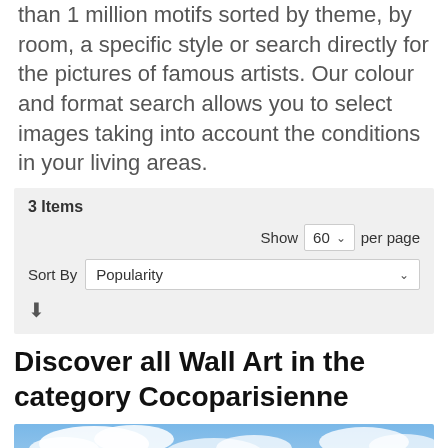than 1 million motifs sorted by theme, by room, a specific style or search directly for the pictures of famous artists. Our colour and format search allows you to select images taking into account the conditions in your living areas.
3 Items
Show 60 per page
Sort By Popularity
Discover all Wall Art in the category Cocoparisienne
[Figure (photo): Photo of an eagle flying against a blue sky with clouds]